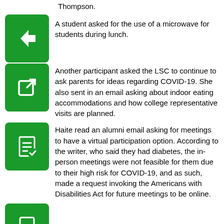Thompson.
A student asked for the use of a microwave for students during lunch.
Another participant asked the LSC to continue to ask parents for ideas regarding COVID-19. She also sent in an email asking about indoor eating accommodations and how college representative visits are planned.
Haite read an alumni email asking for meetings to have a virtual participation option. According to the writer, who said they had diabetes, the in-person meetings were not feasible for them due to their high risk for COVID-19, and as such, made a request invoking the Americans with Disabilities Act for future meetings to be online.
Reports
PRINCIPAL
Principal Thompson gave a robust report that started on a somber note, offering her condolences to Simeon and Morgan Park High Schools, where recent violent events led to two CPS students losing their lives.
Since it is currently the last year in the two-year cycle of the CIWP